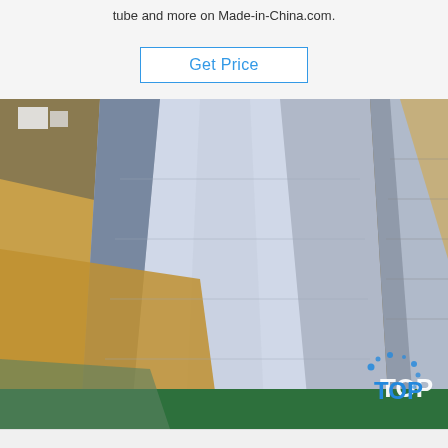tube and more on Made-in-China.com.
Get Price
[Figure (photo): Stack of metallic sheets (likely stainless steel or aluminum) wrapped in brown/tan kraft paper packaging, stored vertically in a warehouse or factory setting. A 'TOP' badge logo appears in the lower right corner of the image.]